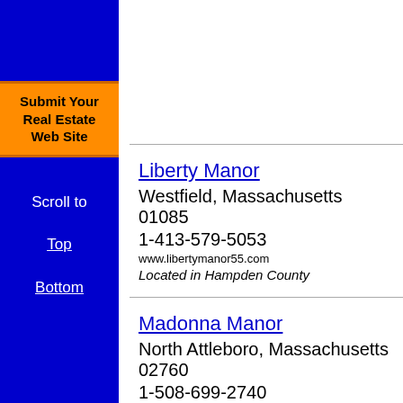[Figure (other): Orange button labeled Submit Your Real Estate Web Site]
Scroll to
Top
Bottom
Liberty Manor
Westfield, Massachusetts 01085
1-413-579-5053
www.libertymanor55.com
Located in Hampden County
Madonna Manor
North Attleboro, Massachusetts 02760
1-508-699-2740
dhfo.org
Located in Bristol County